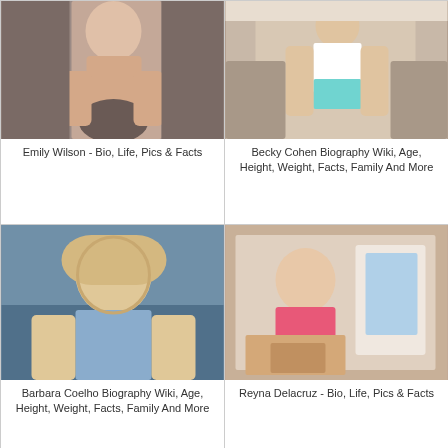[Figure (photo): Emily Wilson photo - person seated on gray couch]
Emily Wilson - Bio, Life, Pics & Facts
[Figure (photo): Becky Cohen photo - person standing in white tank top and teal shorts]
Becky Cohen Biography Wiki, Age, Height, Weight, Facts, Family And More
[Figure (photo): Barbara Coelho photo - smiling woman with blonde hair at stadium]
Barbara Coelho Biography Wiki, Age, Height, Weight, Facts, Family And More
[Figure (photo): Reyna Delacruz photo - person taking selfie in mirror with phone]
Reyna Delacruz - Bio, Life, Pics & Facts